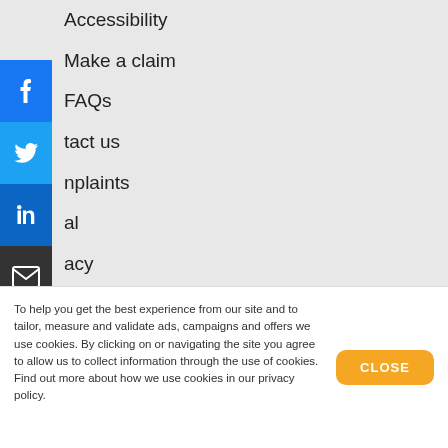Accessibility
Make a claim
FAQs
Contact us
Complaints
Legal
Privacy
Policy documents
Terms of business
[Figure (logo): Trustpilot logo with green star and green rating bars]
To help you get the best experience from our site and to tailor, measure and validate ads, campaigns and offers we use cookies. By clicking on or navigating the site you agree to allow us to collect information through the use of cookies. Find out more about how we use cookies in our privacy policy.